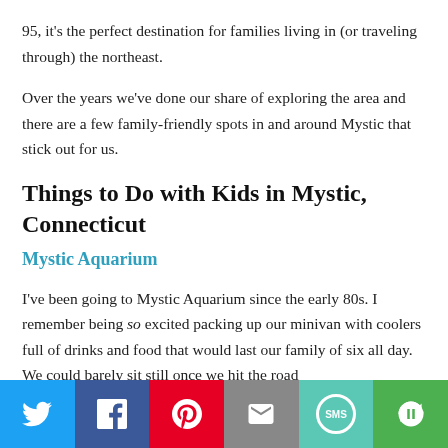95, it's the perfect destination for families living in (or traveling through) the northeast.
Over the years we've done our share of exploring the area and there are a few family-friendly spots in and around Mystic that stick out for us.
Things to Do with Kids in Mystic, Connecticut
Mystic Aquarium
I've been going to Mystic Aquarium since the early 80s. I remember being so excited packing up our minivan with coolers full of drinks and food that would last our family of six all day. We could barely sit still once we hit the road
Social share bar: Twitter, Facebook, Pinterest, Email, SMS, More